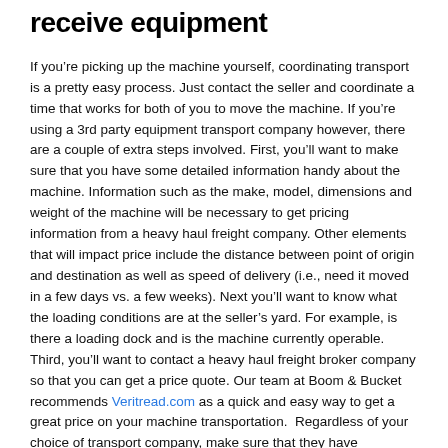receive equipment
If you’re picking up the machine yourself, coordinating transport is a pretty easy process. Just contact the seller and coordinate a time that works for both of you to move the machine. If you’re using a 3rd party equipment transport company however, there are a couple of extra steps involved. First, you’ll want to make sure that you have some detailed information handy about the machine. Information such as the make, model, dimensions and weight of the machine will be necessary to get pricing information from a heavy haul freight company. Other elements that will impact price include the distance between point of origin and destination as well as speed of delivery (i.e., need it moved in a few days vs. a few weeks). Next you’ll want to know what the loading conditions are at the seller’s yard. For example, is there a loading dock and is the machine currently operable. Third, you’ll want to contact a heavy haul freight broker company so that you can get a price quote. Our team at Boom & Bucket recommends Veritread.com as a quick and easy way to get a great price on your machine transportation.  Regardless of your choice of transport company, make sure that they have insurance to cover the full replacement cost of your purchase as a precaution.